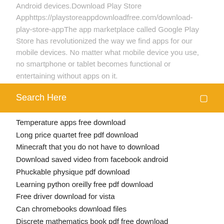Android devices.Download Play Store Apphttps://playstoreappdownloadfree.com/download-play-store-appThe app marketplace called Google Play Store has revolutionized the way we find apps for our mobile devices. No matter what mobile device you use, no smartphone or tablet becomes functional or entertaining without apps on it.
Search Here
Temperature apps free download
Long price quartet free pdf download
Minecraft that you do not have to download
Download saved video from facebook android
Phuckable physique pdf download
Learning python oreilly free pdf download
Free driver download for vista
Can chromebooks download files
Discrete mathematics book pdf free download
Hubsan h501s fw mod tool download